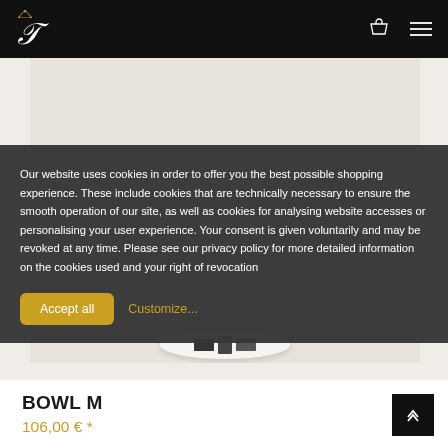Navigation bar with logo, cart icon, and menu icon
[Figure (photo): Product photo area showing a white bowl/dish on a light beige background, partially visible]
Our website uses cookies in order to offer you the best possible shopping experience. These include cookies that are technically necessary to ensure the smooth operation of our site, as well as cookies for analysing website accesses or personalising your user experience. Your consent is given voluntarily and may be revoked at any time. Please see our privacy policy for more detailed information on the cookies used and your right of revocation
Accept all
Customize...
BOWL M
106,00 € *